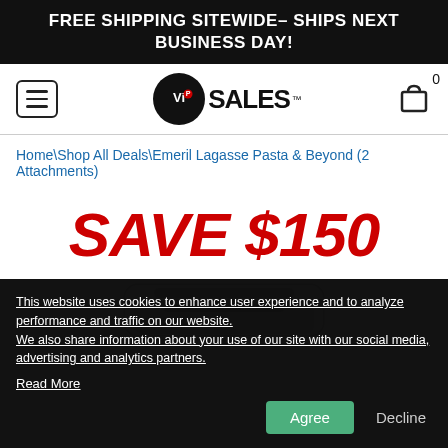FREE SHIPPING SITEWIDE– SHIPS NEXT BUSINESS DAY!
[Figure (logo): VIP SALES logo with circular black emblem containing 'ViP' in red/white and 'SALES' in bold black text, hamburger menu icon on left, shopping bag icon with 0 count on right]
Home\Shop All Deals\Emeril Lagasse Pasta & Beyond (2 Attachments)
SAVE $150
[Figure (photo): Partial view of the Emeril Lagasse Pasta & Beyond appliance, white/silver device visible at bottom]
This website uses cookies to enhance user experience and to analyze performance and traffic on our website.
We also share information about your use of our site with our social media, advertising and analytics partners.
Read More
Agree   Decline